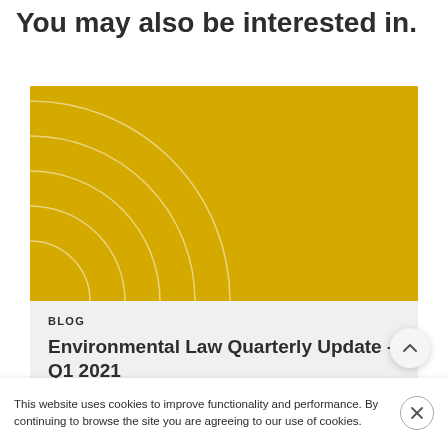You may also be interested in.
[Figure (illustration): Yellow/gold card thumbnail with white concentric arc lines in the bottom-left corner, decorative graphic for a blog post card.]
BLOG
Environmental Law Quarterly Update – Q1 2021
Sophie Wood
This website uses cookies to improve functionality and performance. By continuing to browse the site you are agreeing to our use of cookies.